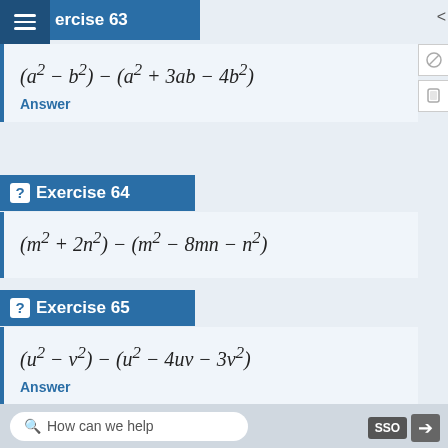Exercise 63
Answer
? Exercise 64
? Exercise 65
Answer
How can we help  SSO